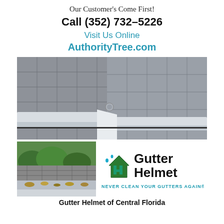Our Customer's Come First!
Call (352) 732-5226
Visit Us Online
AuthorityTree.com
[Figure (photo): Close-up photograph of a clean white gutter system at a roof corner, showing gutter guard/helmet product installed along shingle roofline.]
[Figure (photo): Close-up of a clogged gutter with leaves and debris on a roof.]
[Figure (logo): Gutter Helmet logo — green house icon with letter H, brand name 'Gutter Helmet' in bold black, tagline 'NEVER CLEAN YOUR GUTTERS AGAIN' in teal.]
Gutter Helmet of Central Florida